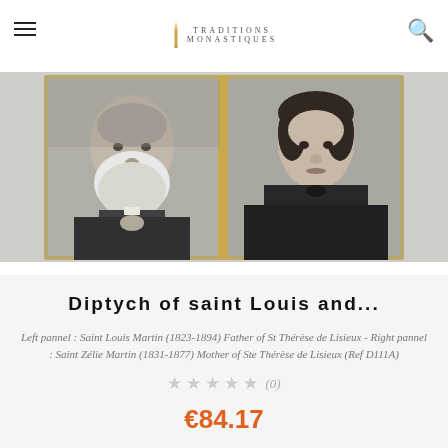TRADITIONS MONASTIQUES
[Figure (photo): Black and white diptych photograph showing two portraits side by side in a golden frame. Left panel: an elderly bearded man (Saint Louis Martin). Right panel: a woman in dark dress with white collar (Saint Zélie Martin).]
Diptych of saint Louis and...
Left pannel : Saint Louis Martin (1823-1894) Father of St Thérèse de Lisieux - Right pannel : Saint Zélie Martin (1831-1877) Mother of Ste Thérèse de Lisieux (Ref D111A)
★★★★★ (0)
€84.17